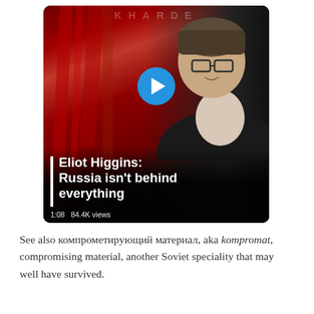[Figure (screenshot): Video thumbnail screenshot of a BBC interview featuring a man in glasses and dark jacket against a red background. A blue play button is centered on the image. A white vertical bar precedes bold white text reading 'Eliot Higgins: Russia isn't behind everything'. Bottom left shows '1:08  84.4K views'.]
See also компрометирующий материал, aka kompromat, compromising material, another Soviet speciality that may well have survived.